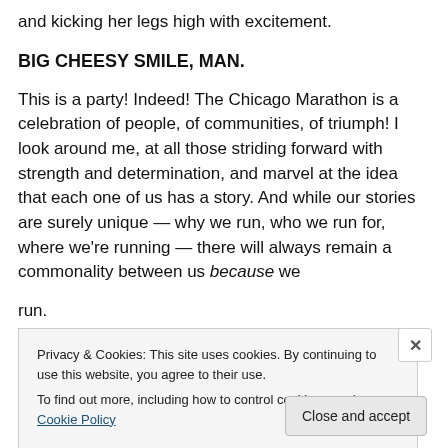and kicking her legs high with excitement.
BIG CHEESY SMILE, MAN.
This is a party! Indeed! The Chicago Marathon is a celebration of people, of communities, of triumph! I look around me, at all those striding forward with strength and determination, and marvel at the idea that each one of us has a story. And while our stories are surely unique — why we run, who we run for, where we're running — there will always remain a commonality between us because we run.
Privacy & Cookies: This site uses cookies. By continuing to use this website, you agree to their use.
To find out more, including how to control cookies, see here: Cookie Policy